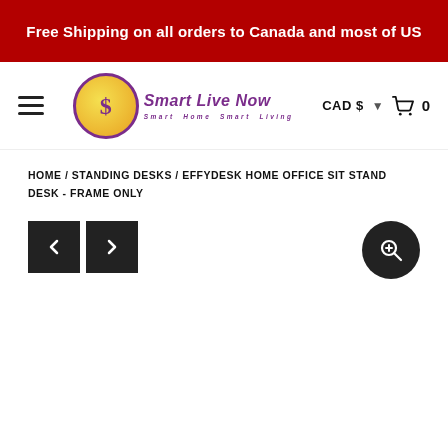Free Shipping on all orders to Canada and most of US
[Figure (logo): Smart Live Now logo — yellow circle with purple dollar sign, purple italic script text 'Smart Live Now' and tagline 'Smart Home Smart Living']
CAD $ 0
HOME / STANDING DESKS / EFFYDESK HOME OFFICE SIT STAND DESK - FRAME ONLY
[Figure (screenshot): Product image navigation area with left/right arrow buttons (dark square) on the left and a zoom/magnify button (dark circle) on the right. Product image area is blank/white.]